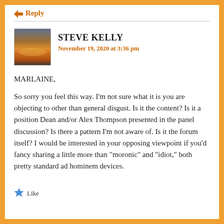Reply
STEVE KELLY
November 19, 2020 at 3:36 pm
MARLAINE,

So sorry you feel this way. I'm not sure what it is you are objecting to other than general disgust. Is it the content? Is it a position Dean and/or Alex Thompson presented in the panel discussion? Is there a pattern I'm not aware of. Is it the forum itself? I would be interested in your opposing viewpoint if you'd fancy sharing a little more than "moronic" and "idiot," both pretty standard ad hominem devices.
Like